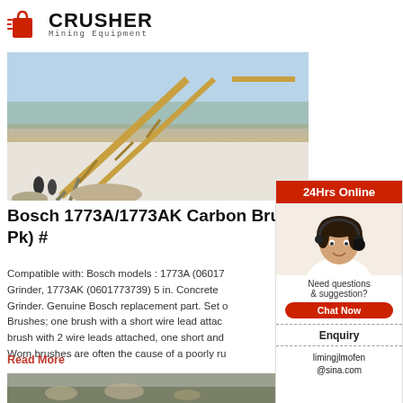[Figure (logo): Crusher Mining Equipment logo with red shopping bag icon and bold black CRUSHER text, subtitle Mining Equipment]
[Figure (photo): Outdoor industrial conveyor belt system in winter landscape with snow on the ground, wooden structures, trees in background]
Bosch 1773A/1773AK Carbon Brush (2 Pk) #
Compatible with: Bosch models : 1773A (06017... Grinder, 1773AK (0601773739) 5 in. Concrete Grinder. Genuine Bosch replacement part. Set o... Brushes; one brush with a short wire lead attac... brush with 2 wire leads attached, one short and... Worn brushes are often the cause of a poorly ru...
Read More
[Figure (photo): Second photo of outdoor industrial equipment or machinery site]
[Figure (infographic): 24Hrs Online sidebar with customer service representative photo, Need questions & suggestion text, Chat Now button, Enquiry link, and limingjlmofen@sina.com email]